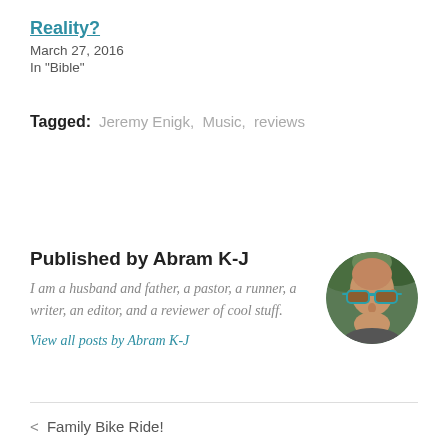Reality?
March 27, 2016
In "Bible"
Tagged:   Jeremy Enigk,  Music,  reviews
Published by Abram K-J
I am a husband and father, a pastor, a runner, a writer, an editor, and a reviewer of cool stuff.
View all posts by Abram K-J
[Figure (photo): Circular avatar photo of Abram K-J, a person wearing teal/blue-framed sunglasses, outdoors with trees in background]
< Family Bike Ride!